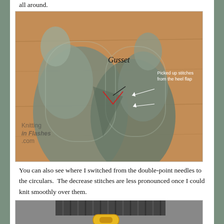all around.
[Figure (photo): Overhead photo of two knitted socks showing the gusset area with annotations. A label reads 'Gusset' with arrows pointing to picked up stitches from the heel flap. Red lines highlight the decrease stitches. Watermark reads 'Knitting in Flashes .com']
You can also see where I switched from the double-point needles to the circulars. The decrease stitches are less pronounced once I could knit smoothly over them.
[Figure (photo): Close-up photo of dark grey knitted sock or mitten showing ribbing at top, colorwork with white flower motifs, and a yellow stitch marker clip.]